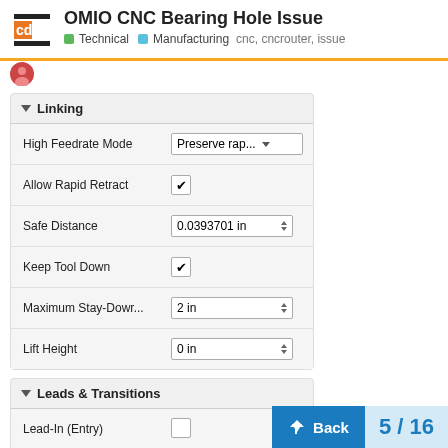OMIO CNC Bearing Hole Issue — Technical, Manufacturing — cnc, cncrouter, issue
Linking
| Setting | Value |
| --- | --- |
| High Feedrate Mode | Preserve rap... ▼ |
| Allow Rapid Retract | ☑ |
| Safe Distance | 0.0393701 in |
| Keep Tool Down | ☑ |
| Maximum Stay-Down... | 2 in |
| Lift Height | 0 in |
Leads & Transitions
| Setting | Value |
| --- | --- |
| Lead-In (Entry) | ☐ |
| Lead-Out (Exit) | ☑ |
| Horizontal Lead-Out ... | 0.0125 in |
Back  5 / 16